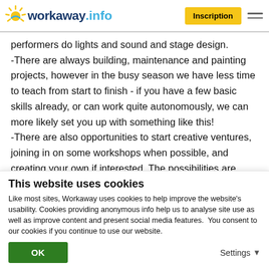workaway.info | Inscription
performers do lights and sound and stage design. -There are always building, maintenance and painting projects, however in the busy season we have less time to teach from start to finish - if you have a few basic skills already, or can work quite autonomously, we can more likely set you up with something like this! -There are also opportunities to start creative ventures, joining in on some workshops when possible, and creating your own if interested. The possibilities are endless here and your input is most
This website uses cookies
Like most sites, Workaway uses cookies to help improve the website's usability. Cookies providing anonymous info help us to analyse site use as well as improve content and present social media features.  You consent to our cookies if you continue to use our website.
OK
Settings